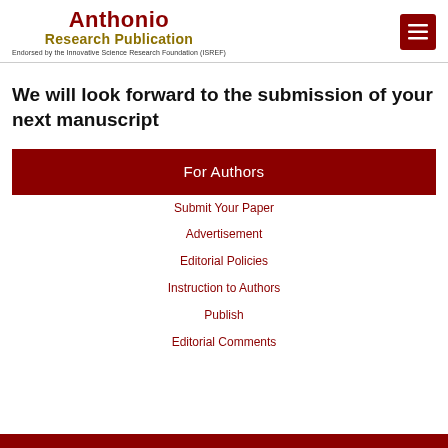Anthonio Research Publication — Endorsed by the Innovative Science Research Foundation (ISREF)
We will look forward to the submission of your next manuscript
For Authors
Submit Your Paper
Advertisement
Editorial Policies
Instruction to Authors
Publish
Editorial Comments